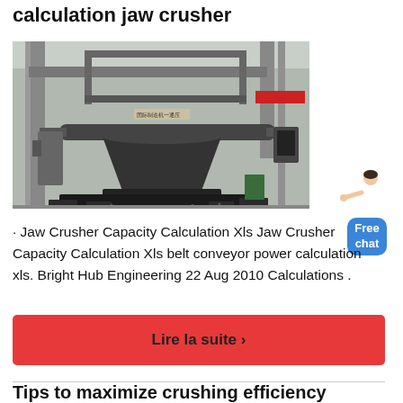calculation jaw crusher
[Figure (photo): Industrial jaw crusher machine on factory floor, large conical crushing component visible with metal frame structure overhead, industrial building interior]
[Figure (illustration): Woman in white shirt pointing with free chat button overlay in blue]
· Jaw Crusher Capacity Calculation Xls Jaw Crusher Capacity Calculation Xls belt conveyor power calculation xls. Bright Hub Engineering 22 Aug 2010 Calculations .
Lire la suite ›
Tips to maximize crushing efficiency